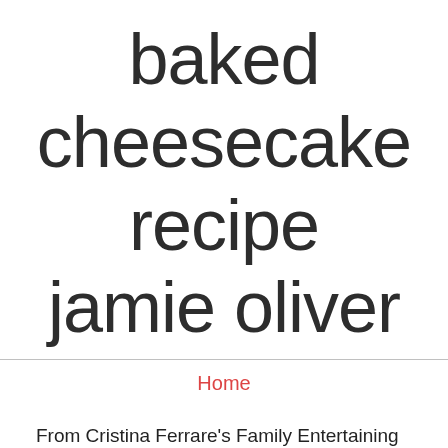baked cheesecake recipe jamie oliver
Home
From Cristina Ferrare's Family Entertaining Cookbook (1998), Total Carbohydrate ... Add Jamie's Tray-Baked Eggs to my favourite recipes.
https://thehappyfoodie.co.uk/recipes/frozen-banoffee-